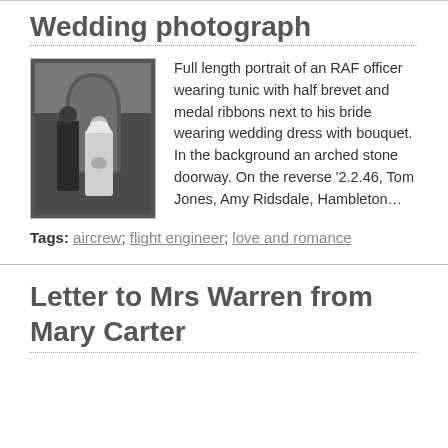Wedding photograph
[Figure (photo): Black and white wedding photograph: full length portrait of an RAF officer wearing tunic with half brevet and medal ribbons next to his bride wearing wedding dress with bouquet. In the background an arched stone doorway.]
Full length portrait of an RAF officer wearing tunic with half brevet and medal ribbons next to his bride wearing wedding dress with bouquet. In the background an arched stone doorway. On the reverse '2.2.46, Tom Jones, Amy Ridsdale, Hambleton…
Tags: aircrew; flight engineer; love and romance
Letter to Mrs Warren from Mary Carter